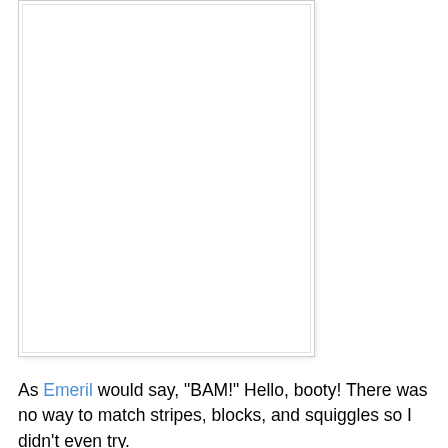[Figure (other): A blank white rectangular image area with a light gray border and inner border, representing a placeholder or empty image region.]
As Emeril would say, "BAM!" Hello, booty! There was no way to match stripes, blocks, and squiggles so I didn't even try.